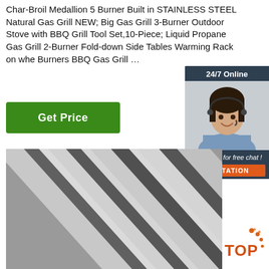Char-Broil Medallion 5 Burner Built in STAINLESS STEEL Natural Gas Grill NEW; Big Gas Grill 3-Burner Outdoor Stove with BBQ Grill Tool Set,10-Piece; Liquid Propane Gas Grill 2-Burner Fold-down Side Tables Warming Rack on whe... Burners BBQ Gas Grill …
[Figure (other): Green 'Get Price' button]
[Figure (other): 24/7 Online chat widget with a customer service representative photo, 'Click here for free chat!' text and an orange QUOTATION button]
[Figure (photo): Close-up greyscale photo of metal grill grates/bars at an angle]